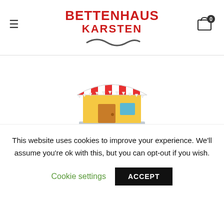BETTENHAUS KARSTEN
[Figure (illustration): Store/shop icon with red and white striped awning, yellow building, brown door, and blue window]
INFOBOX TITLE
Lorem ipsum dolor sit amet, consectetur adipiscing elit, sed do eiusmod tempor.
[Figure (illustration): Partial store/shop icon with red and white striped awning, yellow building visible at bottom]
This website uses cookies to improve your experience. We'll assume you're ok with this, but you can opt-out if you wish.
Cookie settings  ACCEPT